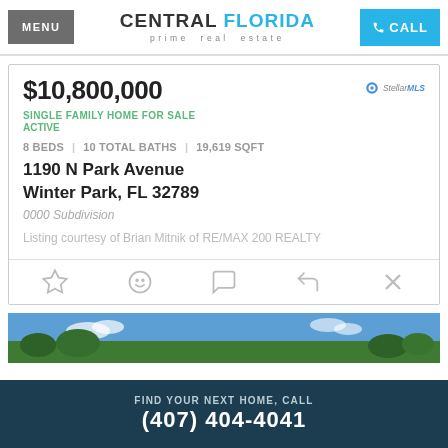MENU | CENTRAL FLORIDA prime real estate | CALL
$10,800,000
SINGLE FAMILY HOME FOR SALE
ACTIVE
8 BEDS | 10 TOTAL BATHS | 19,619 SQFT
1190 N Park Avenue
Winter Park, FL 32789
0000 Subdivision
Listing courtesy of Brian Mitnik of RE/MAX 200 REALTY
[Figure (photo): Outdoor photo showing trees against a blue sky with clouds]
FIND YOUR NEXT HOME, CALL
(407) 404-4041